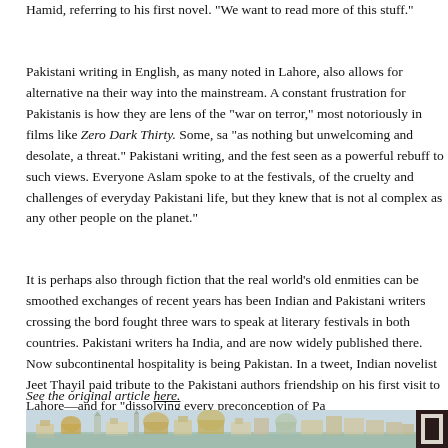Hamid, referring to his first novel. "We want to read more of this stuff."
Pakistani writing in English, as many noted in Lahore, also allows for alternative narratives to find their way into the mainstream. A constant frustration for Pakistanis is how they are seen through the lens of the "war on terror," most notoriously in films like Zero Dark Thirty. Some, say Pakistan is seen "as nothing but unwelcoming and desolate, a threat." Pakistani writing, and the festivals, can be seen as a powerful rebuff to such views. Everyone Aslam spoke to at the festivals, was well aware of the cruelty and challenges of everyday Pakistani life, but they knew that is not all. "People are as complex as any other people on the planet."
It is perhaps also through fiction that the real world's old enmities can be smoothed. One of the exchanges of recent years has been Indian and Pakistani writers crossing the border their countries fought three wars to speak at literary festivals in both countries. Pakistani writers have been feted in India, and are now widely published there. Now subcontinental hospitality is being extended to Pakistan. In a tweet, Indian novelist Jeet Thayil paid tribute to the Pakistani authors for their friendship on his first visit to Lahore—and for "dissolving every preconception of Pa
See the original article here.
[Figure (illustration): Watercolor illustration of a city skyline with domes, towers, and buildings in soft pastel colors, with a body of water in the background. Partially cropped on the right where a dark panel begins.]